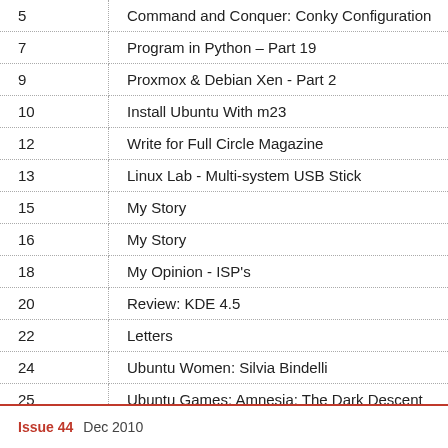| Page | Title |
| --- | --- |
| 5 | Command and Conquer: Conky Configuration |
| 7 | Program in Python – Part 19 |
| 9 | Proxmox & Debian Xen - Part 2 |
| 10 | Install Ubuntu With m23 |
| 12 | Write for Full Circle Magazine |
| 13 | Linux Lab - Multi-system USB Stick |
| 15 | My Story |
| 16 | My Story |
| 18 | My Opinion - ISP's |
| 20 | Review: KDE 4.5 |
| 22 | Letters |
| 24 | Ubuntu Women: Silvia Bindelli |
| 25 | Ubuntu Games: Amnesia: The Dark Descent |
| 28 | Q & A |
| 30 | My Desktop |
| 32 | Top 5 – Music Notation Apps |
| 35 | How to Contribute |
Issue 44   Dec 2010